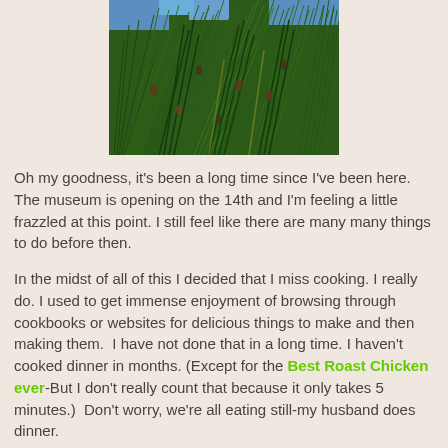[Figure (photo): Close-up photograph of dense green pine needles with small dark pine buds or cones visible among the needles.]
Oh my goodness, it's been a long time since I've been here. The museum is opening on the 14th and I'm feeling a little frazzled at this point. I still feel like there are many many things to do before then.
In the midst of all of this I decided that I miss cooking. I really do. I used to get immense enjoyment of browsing through cookbooks or websites for delicious things to make and then making them.  I have not done that in a long time. I haven't cooked dinner in months. (Except for the Best Roast Chicken ever-But I don't really count that because it only takes 5 minutes.)  Don't worry, we're all eating still-my husband does dinner.
They say your tastes change every 7 or so years and I